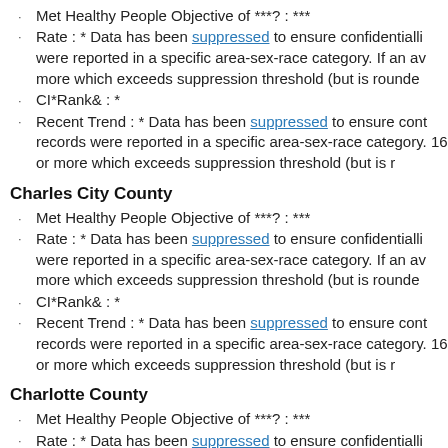Met Healthy People Objective of ***?: ***
Rate : * Data has been suppressed to ensure confidentiality were reported in a specific area-sex-race category. If an av more which exceeds suppression threshold (but is rounde
CI*Rank⋄ : *
Recent Trend : * Data has been suppressed to ensure cont records were reported in a specific area-sex-race category. 16 or more which exceeds suppression threshold (but is r
Charles City County
Met Healthy People Objective of ***?: ***
Rate : * Data has been suppressed to ensure confidentiality were reported in a specific area-sex-race category. If an av more which exceeds suppression threshold (but is rounde
CI*Rank⋄ : *
Recent Trend : * Data has been suppressed to ensure cont records were reported in a specific area-sex-race category. 16 or more which exceeds suppression threshold (but is r
Charlotte County
Met Healthy People Objective of ***?: ***
Rate : * Data has been suppressed to ensure confidentiality